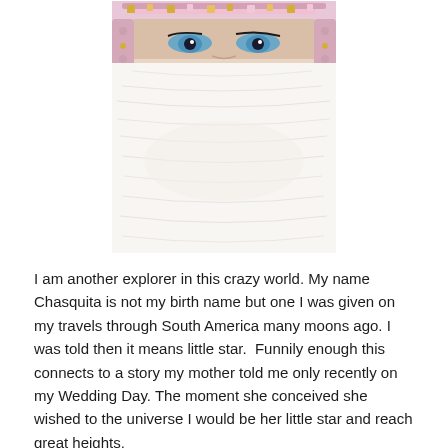[Figure (photo): Close-up portrait photo of a woman with blue eyes wearing a decorative beaded headpiece with pink and gold embellishments, holding a large white feather fan covering the lower half of her face.]
I am another explorer in this crazy world. My name Chasquita is not my birth name but one I was given on my travels through South America many moons ago. I was told then it means little star.  Funnily enough this connects to a story my mother told me only recently on my Wedding Day. The moment she conceived she wished to the universe I would be her little star and reach great heights.